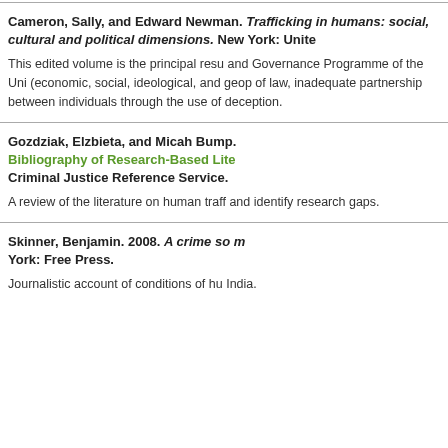Cameron, Sally, and Edward Newman. Trafficking in humans: social, cultural and political dimensions. New York: United Nations University Press. This edited volume is the principal result of the Security and Governance Programme of the United Nations University. (economic, social, ideological, and geopolitical) factors, lack of law, inadequate partnership between individuals through the use of deception.
Gozdziak, Elzbieta, and Micah Bump. Bibliography of Research-Based Literature. Criminal Justice Reference Service. A review of the literature on human trafficking and identify research gaps.
Skinner, Benjamin. 2008. A crime so monstrous. New York: Free Press. Journalistic account of conditions of human trafficking in India.